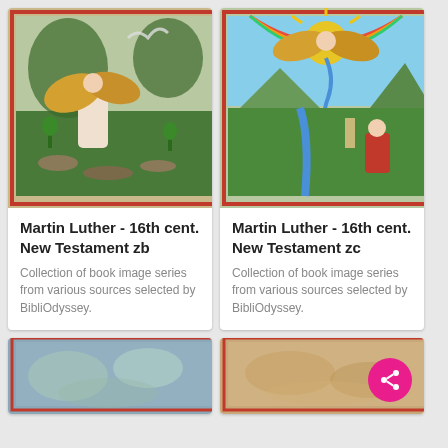[Figure (illustration): 16th century woodcut illustration of an angel with golden wings in a landscape, from Martin Luther New Testament. Red border frame.]
[Figure (illustration): 16th century woodcut illustration of a radiant figure with wings above a kneeling figure in red robes in a landscape, from Martin Luther New Testament. Red border frame.]
Martin Luther - 16th cent. New Testament zb
Collection of book image series from various sources selected by BibliOdyssey.
Martin Luther - 16th cent. New Testament zc
Collection of book image series from various sources selected by BibliOdyssey.
[Figure (illustration): Partial view of a blurred/faded illustrated image at bottom left.]
[Figure (illustration): Partial view of a blurred/faded illustrated image at bottom right with a pink share button overlay.]